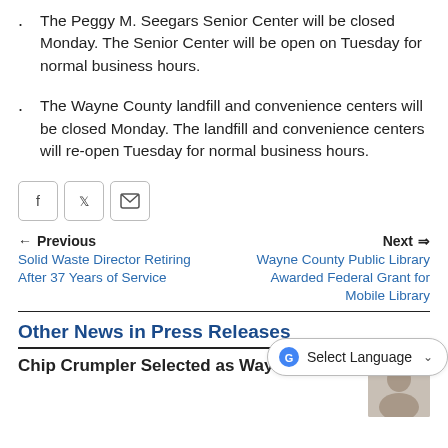The Peggy M. Seegars Senior Center will be closed Monday. The Senior Center will be open on Tuesday for normal business hours.
The Wayne County landfill and convenience centers will be closed Monday. The landfill and convenience centers will re-open Tuesday for normal business hours.
[Figure (other): Social share buttons: Facebook, Twitter, Email]
← Previous
Solid Waste Director Retiring After 37 Years of Service

Next ⇒
Wayne County Public Library Awarded Federal Grant for Mobile Library
Other News in Press Releases
Chip Crumpler Selected as Wayne